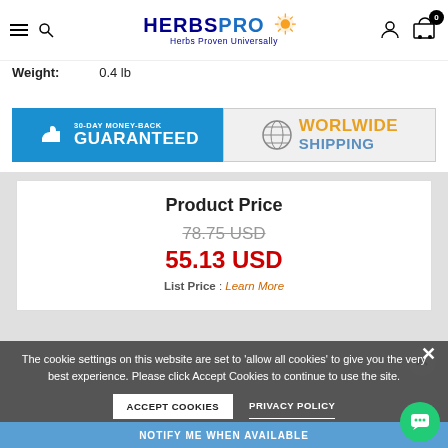[Figure (logo): HerbsPro logo with orange sun icon and text 'Herbs Proven Universally']
Weight: 0.4 lb
[Figure (infographic): 30-Day Money-Back Guaranteed badge (blue) and Worldwide Shipping badge (gray/orange)]
Product Price
78.75 USD (strikethrough)
55.13 USD
List Price : Learn More
UNAVAILABLE
The cookie settings on this website are set to 'allow all cookies' to give you the very best experience. Please click Accept Cookies to continue to use the site.
ACCEPT COOKIES
PRIVACY POLICY
NOTIFY ME WHEN AVAILABLE